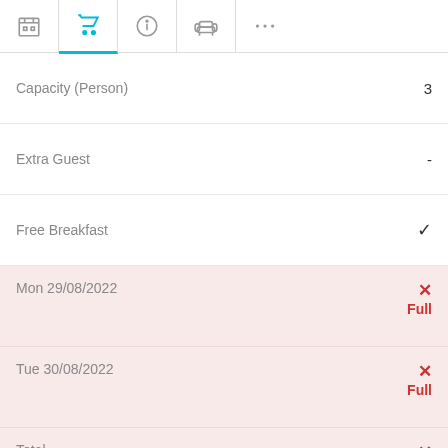[Figure (screenshot): Navigation bar with hotel, shopping cart (active/cyan), info, sofa, and ellipsis icons]
| Field | Value |
| --- | --- |
| Capacity (Person) | 3 |
| Extra Guest | - |
| Free Breakfast | ✓ |
| Mon 29/08/2022 | ✗ Full |
| Tue 30/08/2022 | ✗ Full |
| Total | ✗ Full |
Waiting list